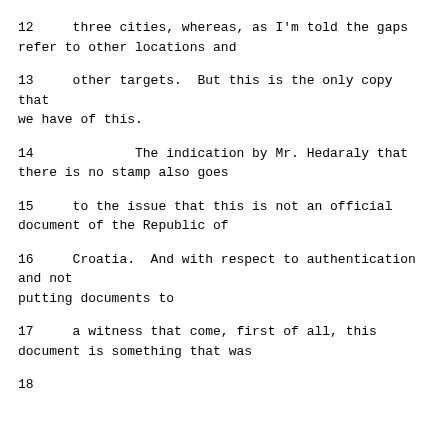12     three cities, whereas, as I'm told the gaps refer to other locations and
13     other targets.  But this is the only copy that we have of this.
14              The indication by Mr. Hedaraly that there is no stamp also goes
15     to the issue that this is not an official document of the Republic of
16     Croatia.  And with respect to authentication and not putting documents to
17     a witness that come, first of all, this document is something that was
18